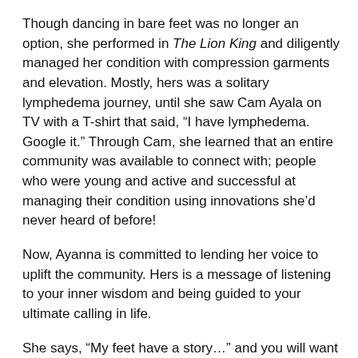Though dancing in bare feet was no longer an option, she performed in The Lion King and diligently managed her condition with compression garments and elevation. Mostly, hers was a solitary lymphedema journey, until she saw Cam Ayala on TV with a T-shirt that said, “I have lymphedema. Google it.” Through Cam, she learned that an entire community was available to connect with; people who were young and active and successful at managing their condition using innovations she’d never heard of before!
Now, Ayanna is committed to lending her voice to uplift the community. Hers is a message of listening to your inner wisdom and being guided to your ultimate calling in life.
She says, “My feet have a story…” and you will want to hear it.
Enjoy Ayanna’s story, brought to you by Lympha Press, a global leader in pneumatic compression for nearly 40 years.